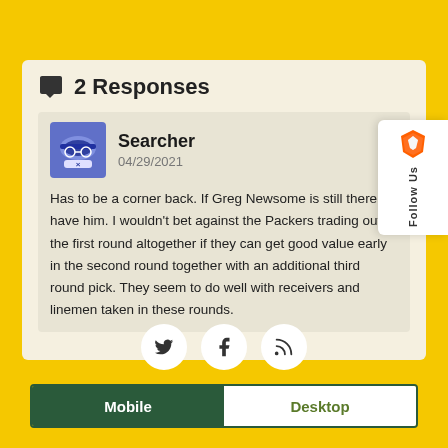2 Responses
Searcher
04/29/2021
Has to be a corner back. If Greg Newsome is still there I'd have him. I wouldn't bet against the Packers trading out of the first round altogether if they can get good value early in the second round together with an additional third round pick. They seem to do well with receivers and linemen taken in these rounds.
[Figure (infographic): Social media follow icons: Twitter, Facebook, RSS]
Mobile | Desktop